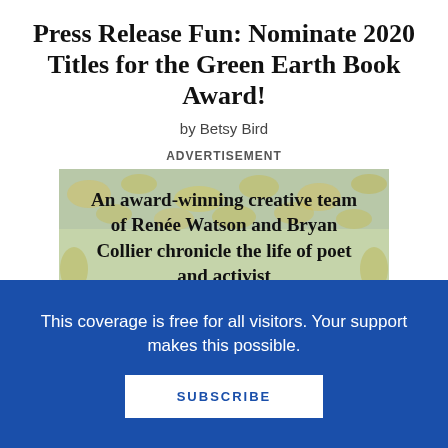Press Release Fun: Nominate 2020 Titles for the Green Earth Book Award!
by Betsy Bird
ADVERTISEMENT
[Figure (photo): Advertisement image with floral background showing text: An award-winning creative team of Renée Watson and Bryan Collier chronicle the life of poet and activist]
This coverage is free for all visitors. Your support makes this possible.
SUBSCRIBE